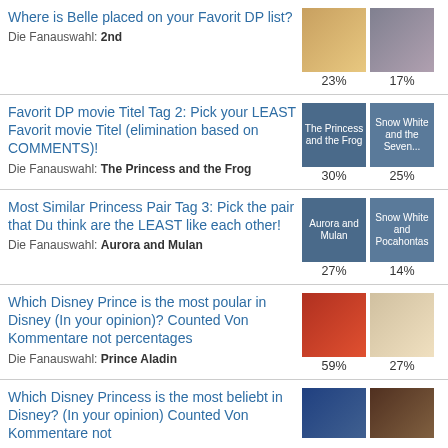Where is Belle placed on your Favorit DP list?
Die Fanauswahl: 2nd
23% | 17%
Favorit DP movie Titel Tag 2: Pick your LEAST Favorit movie Titel (elimination based on COMMENTS)!
Die Fanauswahl: The Princess and the Frog
30% | 25%
Most Similar Princess Pair Tag 3: Pick the pair that Du think are the LEAST like each other!
Die Fanauswahl: Aurora and Mulan
27% | 14%
Which Disney Prince is the most poular in Disney (In your opinion)? Counted Von Kommentare not percentages
Die Fanauswahl: Prince Aladin
59% | 27%
Which Disney Princess is the most beliebt in Disney? (In your opinion) Counted Von Kommentare not...